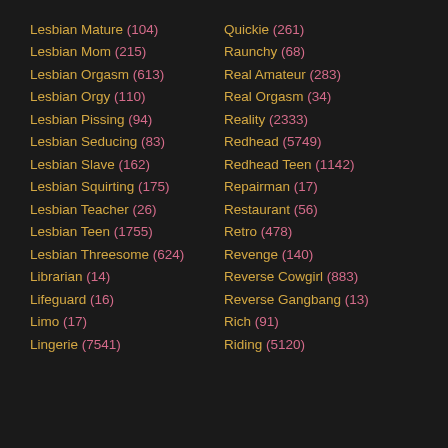Lesbian Mature (104)
Lesbian Mom (215)
Lesbian Orgasm (613)
Lesbian Orgy (110)
Lesbian Pissing (94)
Lesbian Seducing (83)
Lesbian Slave (162)
Lesbian Squirting (175)
Lesbian Teacher (26)
Lesbian Teen (1755)
Lesbian Threesome (624)
Librarian (14)
Lifeguard (16)
Limo (17)
Lingerie (7541)
Quickie (261)
Raunchy (68)
Real Amateur (283)
Real Orgasm (34)
Reality (2333)
Redhead (5749)
Redhead Teen (1142)
Repairman (17)
Restaurant (56)
Retro (478)
Revenge (140)
Reverse Cowgirl (883)
Reverse Gangbang (13)
Rich (91)
Riding (5120)